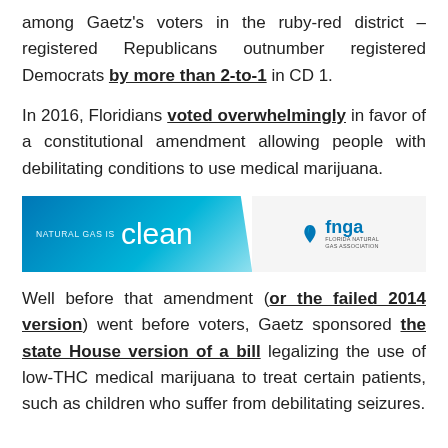among Gaetz's voters in the ruby-red district – registered Republicans outnumber registered Democrats by more than 2-to-1 in CD 1.
In 2016, Floridians voted overwhelmingly in favor of a constitutional amendment allowing people with debilitating conditions to use medical marijuana.
[Figure (other): Advertisement banner: 'NATURAL GAS IS clean' with fnga Florida Natural Gas Association logo]
Well before that amendment (or the failed 2014 version) went before voters, Gaetz sponsored the state House version of a bill legalizing the use of low-THC medical marijuana to treat certain patients, such as children who suffer from debilitating seizures.